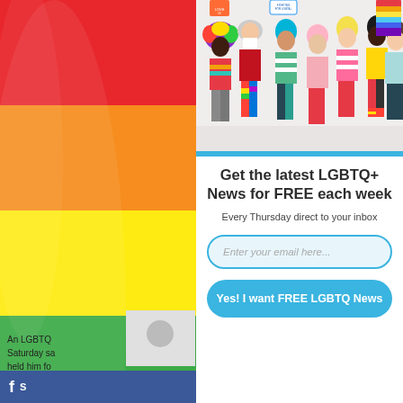[Figure (photo): Rainbow pride flag on left side of page]
[Figure (photo): Group of diverse LGBTQ+ people in colorful pride outfits holding signs saying 'Love is Love' and 'Fighting for Equality', some holding rainbow flags, jumping and celebrating against a white background]
Get the latest LGBTQ+ News for FREE each week
Every Thursday direct to your inbox
Enter your email here...
Yes! I want FREE LGBTQ News
An LGBTQ Saturday sa held him fo
[Figure (photo): Small thumbnail photo partially visible]